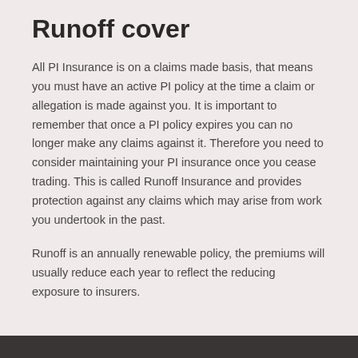Runoff cover
All PI Insurance is on a claims made basis, that means you must have an active PI policy at the time a claim or allegation is made against you. It is important to remember that once a PI policy expires you can no longer make any claims against it. Therefore you need to consider maintaining your PI insurance once you cease trading. This is called Runoff Insurance and provides protection against any claims which may arise from work you undertook in the past.
Runoff is an annually renewable policy, the premiums will usually reduce each year to reflect the reducing exposure to insurers.